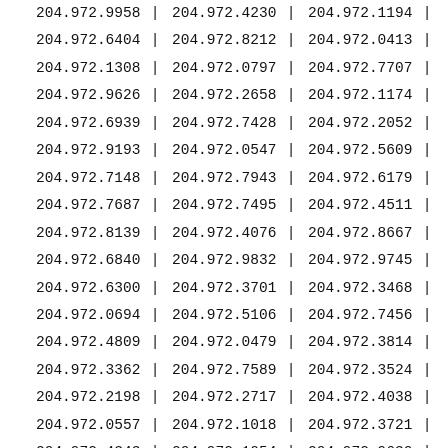| col1 | sep1 | col2 | sep2 | col3 | sep3 |
| --- | --- | --- | --- | --- | --- |
| 204.972.9958 | | | 204.972.4230 | | | 204.972.1194 | | |
| 204.972.6404 | | | 204.972.8212 | | | 204.972.0413 | | |
| 204.972.1308 | | | 204.972.0797 | | | 204.972.7707 | | |
| 204.972.9626 | | | 204.972.2658 | | | 204.972.1174 | | |
| 204.972.6939 | | | 204.972.7428 | | | 204.972.2052 | | |
| 204.972.9193 | | | 204.972.0547 | | | 204.972.5609 | | |
| 204.972.7148 | | | 204.972.7943 | | | 204.972.6179 | | |
| 204.972.7687 | | | 204.972.7495 | | | 204.972.4511 | | |
| 204.972.8139 | | | 204.972.4076 | | | 204.972.8667 | | |
| 204.972.6840 | | | 204.972.9832 | | | 204.972.9745 | | |
| 204.972.6300 | | | 204.972.3701 | | | 204.972.3468 | | |
| 204.972.0694 | | | 204.972.5106 | | | 204.972.7456 | | |
| 204.972.4809 | | | 204.972.0479 | | | 204.972.3814 | | |
| 204.972.3362 | | | 204.972.7589 | | | 204.972.3524 | | |
| 204.972.2198 | | | 204.972.2717 | | | 204.972.4038 | | |
| 204.972.0557 | | | 204.972.1018 | | | 204.972.3721 | | |
| 204.972.4343 | | | 204.972.1054 | | | 204.972.9630 | | |
| 204.972.7488 | | | 204.972.3558 | | | 204.972.9089 | | |
| 204.972.6288 | | | 204.972.3533 | | | 204.972.3708 | | |